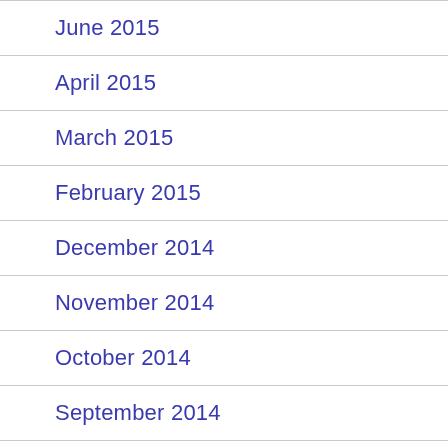June 2015
April 2015
March 2015
February 2015
December 2014
November 2014
October 2014
September 2014
August 2014
June 2014
May 2014